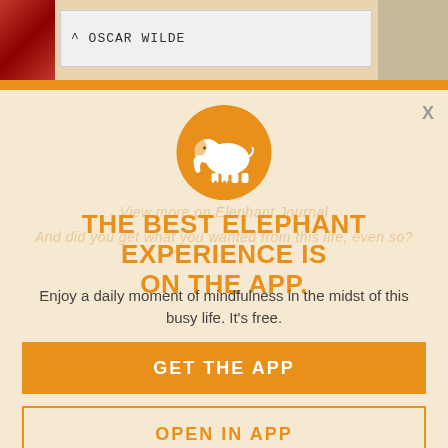[Figure (photo): Top strip showing partial background image with red fabric on left, handwritten label saying '^ OSCAR WILDE' on white card, and burlap texture on right]
[Figure (logo): Round orange circle logo with white elephant silhouette in center]
THE BEST ELEPHANT EXPERIENCE IS ON THE APP.
Enjoy a daily moment of mindfulness in the midst of this busy life. It's free.
GET THE APP
OPEN IN APP